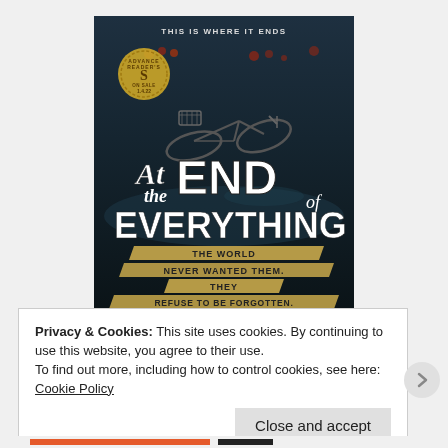[Figure (illustration): Book cover for 'At the End of Everything' showing a fallen bicycle on a wet dark street. Text on cover: 'THIS IS WHERE IT ENDS' at top, large stylized title 'At the END of EVERYTHING', tagline banners reading 'THE WORLD NEVER WANTED THEM. THEY REFUSE TO BE FORGOTTEN.' Gold circular badge on upper left reads 'ADVANCE READER EDITION ON SALE 1.4.22'.]
Privacy & Cookies: This site uses cookies. By continuing to use this website, you agree to their use.
To find out more, including how to control cookies, see here: Cookie Policy
Close and accept